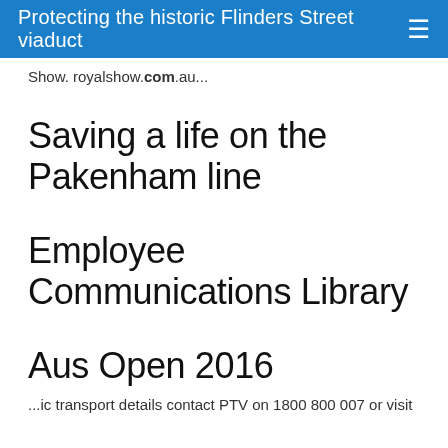Protecting the historic Flinders Street viaduct
Show. royalshow.com.au...
Saving a life on the Pakenham line
Employee Communications Library
Aus Open 2016
...ic transport details contact PTV on 1800 800 007 or visit